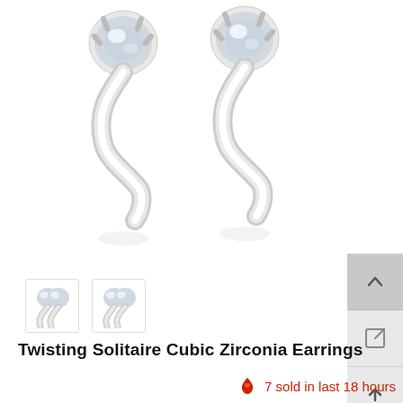[Figure (photo): Product photo showing two silver twisting solitaire cubic zirconia earrings with round clear crystal stones in a swirling silver mount, on white background]
[Figure (photo): Two small thumbnail images of the same cubic zirconia earrings from a different angle]
Twisting Solitaire Cubic Zirconia Earrings
7 sold in last 18 hours